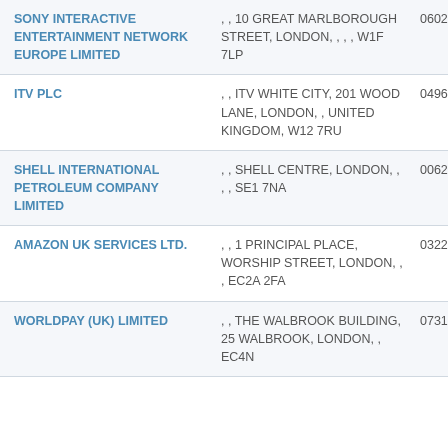| Company Name | Address | Company Number |
| --- | --- | --- |
| SONY INTERACTIVE ENTERTAINMENT NETWORK EUROPE LIMITED | , , 10 GREAT MARLBOROUGH STREET, LONDON, , , , W1F 7LP | 0602028 |
| ITV PLC | , , ITV WHITE CITY, 201 WOOD LANE, LONDON, , UNITED KINGDOM, W12 7RU | 0496700 |
| SHELL INTERNATIONAL PETROLEUM COMPANY LIMITED | , , SHELL CENTRE, LONDON, , , , SE1 7NA | 0062114 |
| AMAZON UK SERVICES LTD. | , , 1 PRINCIPAL PLACE, WORSHIP STREET, LONDON, , , EC2A 2FA | 0322302 |
| WORLDPAY (UK) LIMITED | , , THE WALBROOK BUILDING, 25 WALBROOK, LONDON, , EC4N | 0731650 |